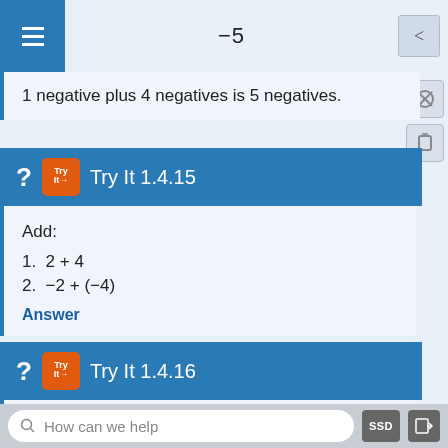-5
1 negative plus 4 negatives is 5 negatives.
Try It 1.4.15
Add:
1. 2 + 4
2. −2 + (−4)
Answer
Try It 1.4.16
Add:
How can we help